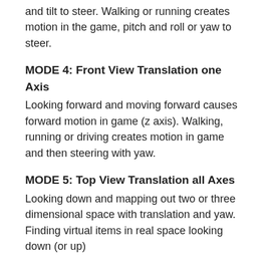and tilt to steer. Walking or running creates motion in the game, pitch and roll or yaw to steer.
MODE 4:  Front View Translation one Axis
Looking forward and moving forward causes forward motion in game (z axis).  Walking, running or driving creates motion in game and then steering with yaw.
MODE 5:  Top View Translation all Axes
Looking down and mapping out two or three dimensional space with translation and yaw.  Finding virtual items in real space looking down (or up)
MODE 6:  Front View Translation all Axes
Looking forward and mapping translation z plus pitch or roll to map real space.  Avoiding obstacles or capturing items as you walk